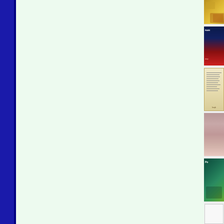[Figure (illustration): Dark blue vertical navigation bar on the left side of the page]
[Figure (illustration): Light mint green main content area in the center of the page]
[Figure (photo): Right sidebar containing a vertical strip of book cover thumbnails: 1) golden/yellow illustration at top, 2) dark blue and red book cover with white text, 3) cream/yellow book cover with horizontal lines, 4) pink/mauve book cover, 5) teal/green book cover, 6) white/blank book cover at bottom]